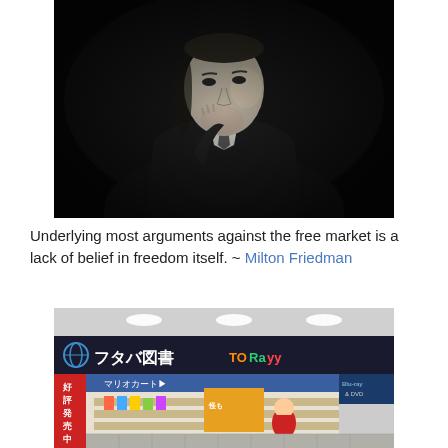[Figure (photo): Black and white dramatic photo of a man in a dark suit, hand raised to chin in a thoughtful pose, sitting against a very dark background.]
Underlying most arguments against the free market is a lack of belief in freedom itself. ~ Milton Friedman
[Figure (photo): Photo of a Japanese retail store (Futaba Tosho / Toraya) in a shopping mall, showing a brightly lit storefront with Japanese signage, Mario Kart displays, Blu-ray & DVD section, and colorful merchandise.]